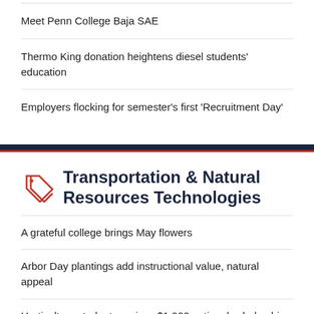Meet Penn College Baja SAE
Thermo King donation heightens diesel students' education
Employers flocking for semester's first 'Recruitment Day'
Transportation & Natural Resources Technologies
A grateful college brings May flowers
Arbor Day plantings add instructional value, natural appeal
Horticulture student receives $1,000 national scholarship